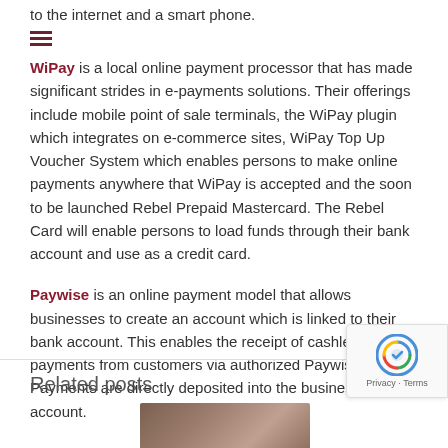to the internet and a smart phone.
WiPay is a local online payment processor that has made significant strides in e-payments solutions. Their offerings include mobile point of sale terminals, the WiPay plugin which integrates on e-commerce sites, WiPay Top Up Voucher System which enables persons to make online payments anywhere that WiPay is accepted and the soon to be launched Rebel Prepaid Mastercard. The Rebel Card will enable persons to load funds through their bank account and use as a credit card.
Paywise is an online payment model that allows businesses to create an account which is linked to their bank account. This enables the receipt of cashless payments from customers via authorized Paywise Agents. Payments are directly deposited into the business's bank account.
Related posts